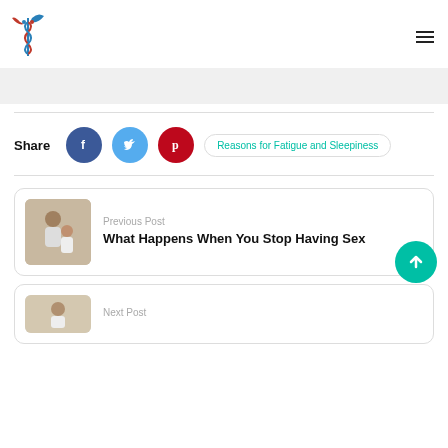Medical website header with logo and hamburger menu
[Figure (other): Gray banner/advertisement area]
Share
[Figure (other): Facebook, Twitter, Pinterest social share buttons and link: Reasons for Fatigue and Sleepiness]
Previous Post
What Happens When You Stop Having Sex
Next Post